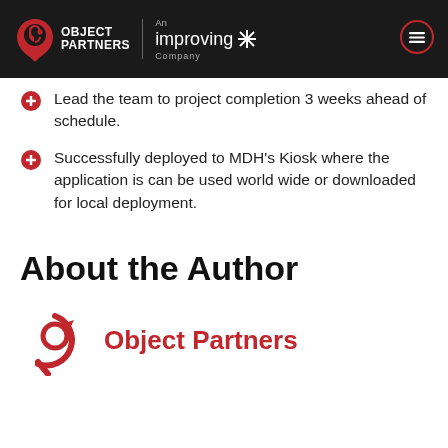Object Partners — An Improving Company
Lead the team to project completion 3 weeks ahead of schedule.
Successfully deployed to MDH's Kiosk where the application is can be used world wide or downloaded for local deployment.
About the Author
[Figure (logo): Object Partners logo — red circular arrow/pin icon with the text 'Object Partners' in red]